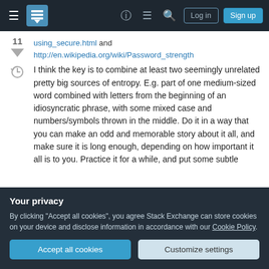Stack Exchange navigation bar with hamburger menu, logo, help, chat, search icons, Log in and Sign up buttons
11  using_secure.html and http://en.wikipedia.org/wiki/Password_strength
I think the key is to combine at least two seemingly unrelated pretty big sources of entropy. E.g. part of one medium-sized word combined with letters from the beginning of an idiosyncratic phrase, with some mixed case and numbers/symbols thrown in the middle. Do it in a way that you can make an odd and memorable story about it all, and make sure it is long enough, depending on how important it all is to you. Practice it for a while, and put some subtle
Your privacy
By clicking "Accept all cookies", you agree Stack Exchange can store cookies on your device and disclose information in accordance with our Cookie Policy.
Accept all cookies   Customize settings